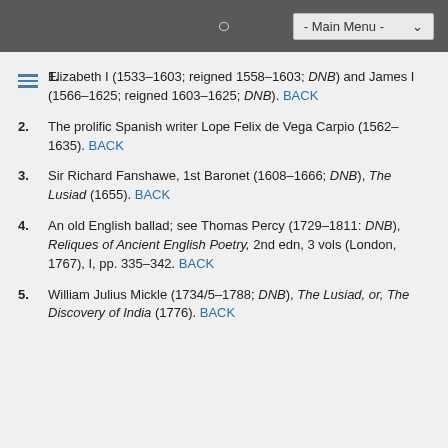- Main Menu -
1. Elizabeth I (1533–1603; reigned 1558–1603; DNB) and James I (1566–1625; reigned 1603–1625; DNB). BACK
2. The prolific Spanish writer Lope Felix de Vega Carpio (1562–1635). BACK
3. Sir Richard Fanshawe, 1st Baronet (1608–1666; DNB), The Lusiad (1655). BACK
4. An old English ballad; see Thomas Percy (1729–1811: DNB), Reliques of Ancient English Poetry, 2nd edn, 3 vols (London, 1767), I, pp. 335–342. BACK
5. William Julius Mickle (1734/5–1788; DNB), The Lusiad, or, The Discovery of India (1776). BACK